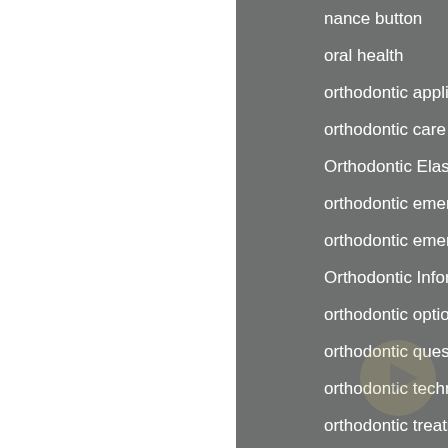nance button
oral health
orthodontic appliance
orthodontic care
Orthodontic Elastic Bands
orthodontic emergencies
orthodontic emergency
Orthodontic Information
orthodontic options
orthodontic questions
orthodontic technology
orthodontic treatment
orthodontics
orthognathic surgery
overbite
pokey wire